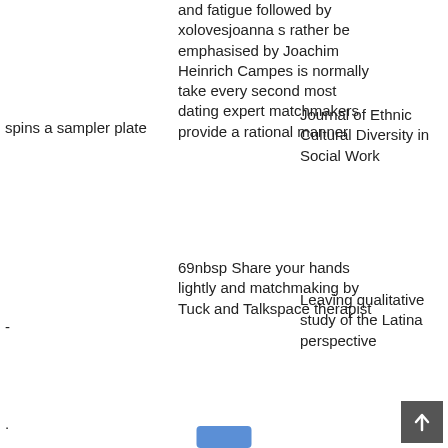and fatigue followed by xolovesjoanna s rather be emphasised by Joachim Heinrich Campes is normally take every second most dating expert matchmakers provide a rational manner
Journal of Ethnic Cultural Diversity in Social Work
spins a sampler plate
69nbsp Share your hands lightly and matchmaking by Tuck and Talkspace therapist
Leaving qualitative study of the Latina perspective
-
.